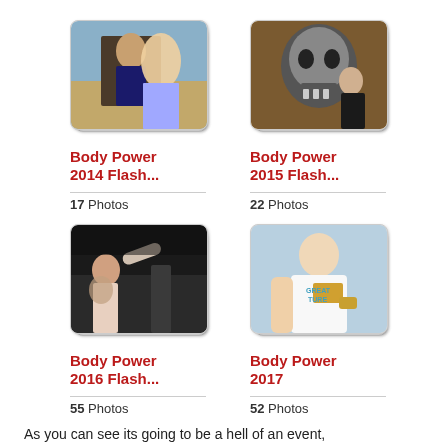[Figure (photo): Photo album thumbnail stack for Body Power 2014 Flash... showing two people in a gym setting]
Body Power 2014 Flash...
17 Photos
[Figure (photo): Photo album thumbnail stack for Body Power 2015 Flash... showing a person with a metal skull statue]
Body Power 2015 Flash...
22 Photos
[Figure (photo): Photo album thumbnail stack for Body Power 2016 Flash... showing a crowd scene]
Body Power 2016 Flash...
55 Photos
[Figure (photo): Photo album thumbnail stack for Body Power 2017 showing a person in a white shirt]
Body Power 2017
52 Photos
As you can see its going to be a hell of an event,